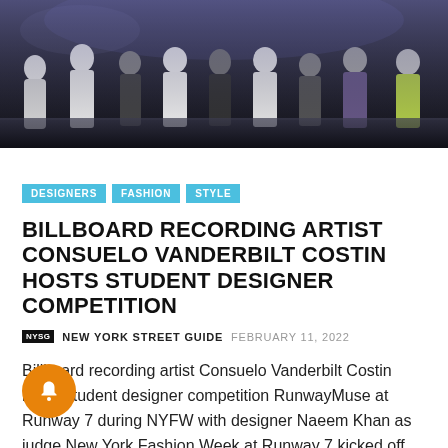[Figure (photo): Group photo of student designers on a runway stage, multiple people standing in a line, dark background with stage lighting]
DESIGNERS  FASHION  STYLE
BILLBOARD RECORDING ARTIST CONSUELO VANDERBILT COSTIN HOSTS STUDENT DESIGNER COMPETITION
NEW YORK STREET GUIDE  FEBRUARY 11, 2022
Billboard recording artist Consuelo Vanderbilt Costin hosts student designer competition RunwayMuse at Runway 7 during NYFW with designer Naeem Khan as judge New York Fashion Week at Runway 7 kicked off this year with an innovative live runway competition featuring the best in upcoming talent. Student designers from across the nation